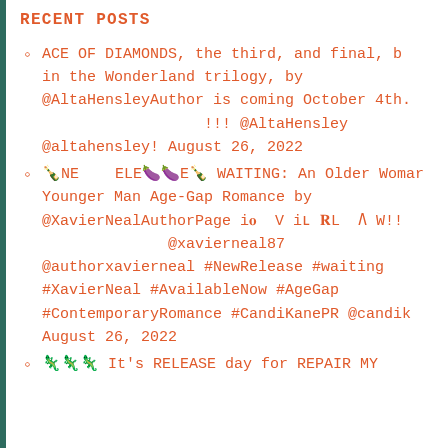RECENT POSTS
ACE OF DIAMONDS, the third, and final, b in the Wonderland trilogy, by @AltaHensleyAuthor is coming October 4th. !!! @AltaHensley @altahensley! August 26, 2022
🍾NE ELE🍾 WAITING: An Older Woman Younger Man Age-Gap Romance by @XavierNealAuthorPage is V iL BL N W!! @xavierneal87 @authorxavierneal #NewRelease #waiting #XavierNeal #AvailableNow #AgeGap #ContemporaryRomance #CandiKanePR @candik August 26, 2022
🦎🦎 It's RELEASE day for REPAIR MY...